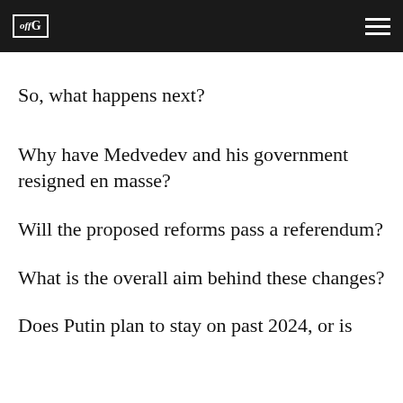offG [logo] [hamburger menu]
So, what happens next?
Why have Medvedev and his government resigned en masse?
Will the proposed reforms pass a referendum?
What is the overall aim behind these changes?
Does Putin plan to stay on past 2024, or is